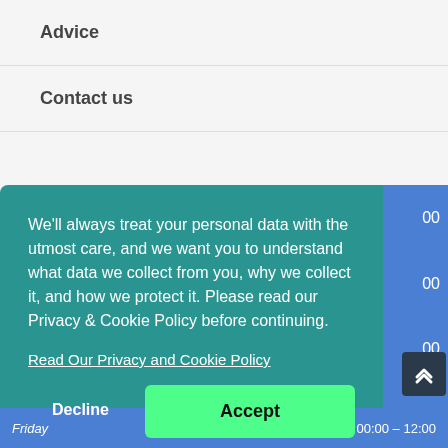Advice
Contact us
We'll always treat your personal data with the utmost care, and we want you to understand what data we collect from you, why we collect it, and how we protect it. Please read our Privacy & Cookie Policy before continuing.
Read Our Privacy and Cookie Policy
Decline
Accept